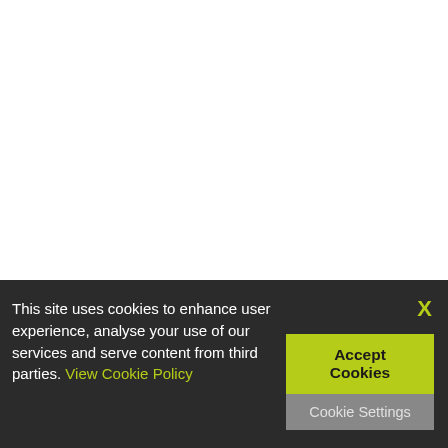This site uses cookies to enhance user experience, analyse your use of our services and serve content from third parties. View Cookie Policy
X
Accept Cookies
Cookie Settings